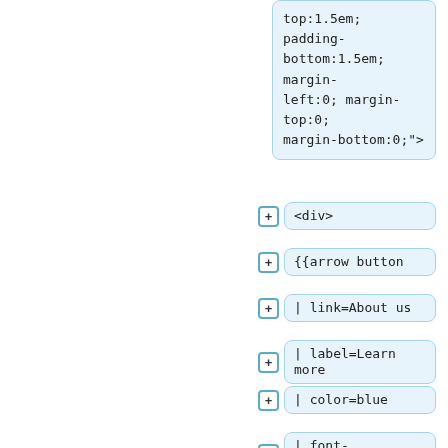top:1.5em; padding-bottom:1.5em; margin-left:0; margin-top:0; margin-bottom:0;">
+ <div>
+ {{arrow button
+ | link=About us
+ | label=Learn more
+ | color=blue
+ | font-size=125%;
+ }}
+ {{arrow button
+ | link=#events
+ | label=Upcoming